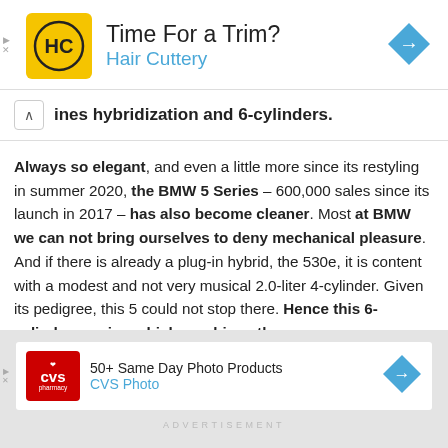[Figure (infographic): Hair Cuttery advertisement banner. Yellow square logo with HC text, title 'Time For a Trim?', subtitle 'Hair Cuttery' in blue, and a blue diamond-shaped navigation arrow on the right.]
ines hybridization and 6-cylinders.
Always so elegant, and even a little more since its restyling in summer 2020, the BMW 5 Series – 600,000 sales since its launch in 2017 – has also become cleaner. Most at BMW we can not bring ourselves to deny mechanical pleasure. And if there is already a plug-in hybrid, the 530e, it is content with a modest and not very musical 2.0-liter 4-cylinder. Given its pedigree, this 5 could not stop there. Hence this 6-cylinder version which combines the
[Figure (infographic): CVS Photo advertisement banner. Red CVS pharmacy logo, text '50+ Same Day Photo Products', subtitle 'CVS Photo' in blue, and a blue diamond-shaped navigation arrow on the right.]